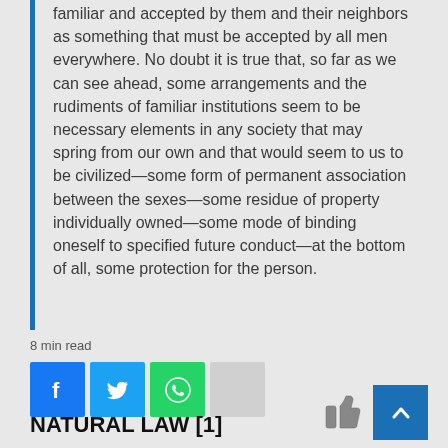familiar and accepted by them and their neighbors as something that must be accepted by all men everywhere. No doubt it is true that, so far as we can see ahead, some arrangements and the rudiments of familiar institutions seem to be necessary elements in any society that may spring from our own and that would seem to us to be civilized—some form of permanent association between the sexes—some residue of property individually owned—some mode of binding oneself to specified future conduct—at the bottom of all, some protection for the person.
8 min read
[Figure (infographic): Social share buttons: Facebook (blue), Twitter (light blue), WhatsApp (green), and a generic share button (gray)]
[Figure (illustration): Thumbs up icon and blue scroll-to-top arrow button]
NATURAL LAW [1]